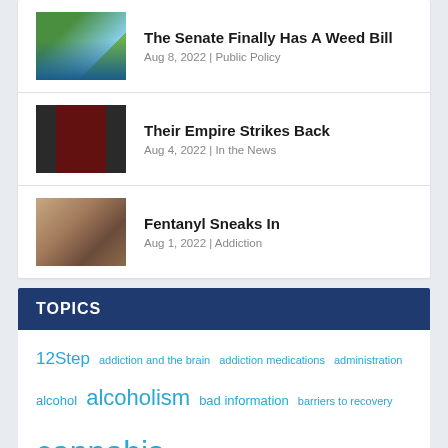The Senate Finally Has A Weed Bill | Aug 8, 2022 | Public Policy
Their Empire Strikes Back | Aug 4, 2022 | In the News
Fentanyl Sneaks In | Aug 1, 2022 | Addiction
TOPICS
12Step addiction and the brain addiction medications administration alcohol alcoholism bad information barriers to recovery cannabis client engagement and motivation clinical management co-occurring disorders communication